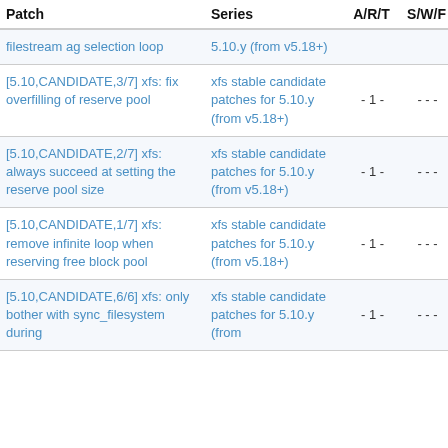| Patch | Series | A/R/T | S/W/F | D |
| --- | --- | --- | --- | --- |
| filestream ag selection loop | 5.10.y (from v5.18+) |  |  |  |
| [5.10,CANDIDATE,3/7] xfs: fix overfilling of reserve pool | xfs stable candidate patches for 5.10.y (from v5.18+) | - 1 - | - - - | 2 |
| [5.10,CANDIDATE,2/7] xfs: always succeed at setting the reserve pool size | xfs stable candidate patches for 5.10.y (from v5.18+) | - 1 - | - - - | 2 |
| [5.10,CANDIDATE,1/7] xfs: remove infinite loop when reserving free block pool | xfs stable candidate patches for 5.10.y (from v5.18+) | - 1 - | - - - | 2 |
| [5.10,CANDIDATE,6/6] xfs: only bother with sync_filesystem during | xfs stable candidate patches for 5.10.y (from | - 1 - | - - - | 2 |